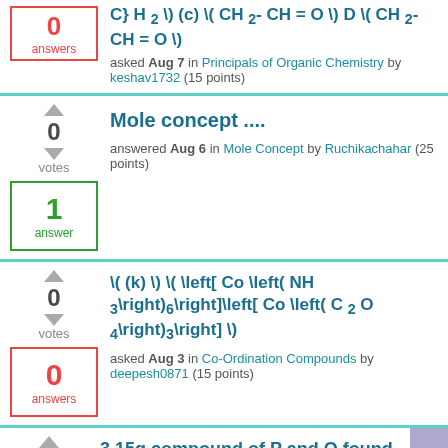C} H _{2} \) (c) \( CH _{2}- CH = O \) D \( CH _{2}- CH = O \)
asked Aug 7 in Principals of Organic Chemistry by keshav1732 (15 points)
Mole concept ....
answered Aug 6 in Mole Concept by Ruchikachahar (25 points)
1 answer
\( (k) \) \( \left[ Co \left( NH _{3}\right)_{6}\right]\left[ Co \left( C _{2} O _{4}\right)_{3}\right] \)
asked Aug 3 in Co-Ordination Compounds by deepesh0871 (15 points)
0 answers
3.15g compound of P and Q found to contain 0.42g P. 9.12g